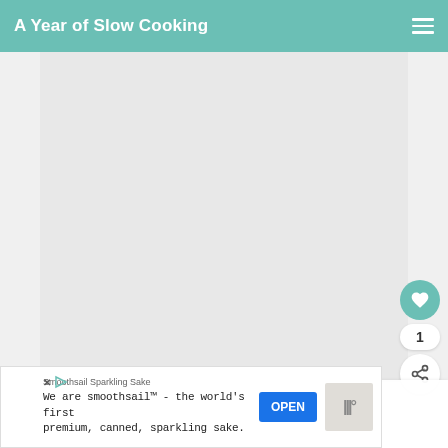A Year of Slow Cooking
[Figure (photo): Large blank/light gray content area showing a webpage screenshot with white/gray image placeholder]
[Figure (infographic): Social buttons: heart icon (teal circle), count '1', share icon (white circle)]
WHAT'S NEXT → CrockPot Hamburger...
Smoothsail Sparkling Sake
We are smoothsail™ - the world's first premium, canned, sparkling sake.